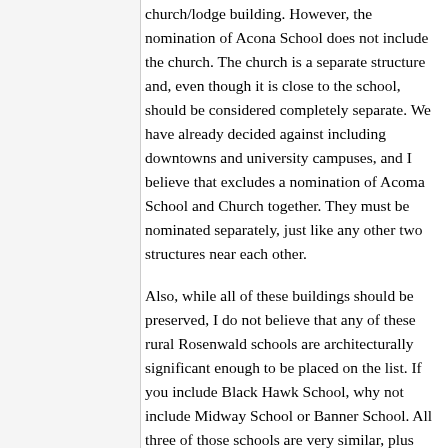church/lodge building. However, the nomination of Acona School does not include the church. The church is a separate structure and, even though it is close to the school, should be considered completely separate. We have already decided against including downtowns and university campuses, and I believe that excludes a nomination of Acoma School and Church together. They must be nominated separately, just like any other two structures near each other.
Also, while all of these buildings should be preserved, I do not believe that any of these rural Rosenwald schools are architecturally significant enough to be placed on the list. If you include Black Hawk School, why not include Midway School or Banner School. All three of those schools are very similar, plus Midway and Banner are constructed of more substantial brick, not frame. If you include Acona School, why not include Oakland Normal Institute or West Clay Agricultural